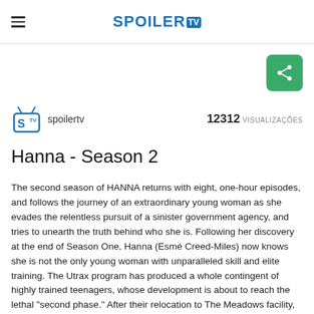SPOILER TV
[Figure (logo): SpoilerTV logo with TV icon and share button]
spoilertv   12312 VISUALIZAÇÕES
Hanna - Season 2
The second season of HANNA returns with eight, one-hour episodes, and follows the journey of an extraordinary young woman as she evades the relentless pursuit of a sinister government agency, and tries to unearth the truth behind who she is. Following her discovery at the end of Season One, Hanna (Esmé Creed-Miles) now knows she is not the only young woman with unparalleled skill and elite training. The Utrax program has produced a whole contingent of highly trained teenagers, whose development is about to reach the lethal "second phase." After their relocation to The Meadows facility, these trainees find their restrictions lifted and glimpse the possibility of a new identity in the outside world. But this apparent freedom will come at a heavy price.
In Season Two, Hanna risks her freedom to rescue her friend Clara (Yasmin Monet Prince) from the clutches of the Utrax program, now run by John Carmichael (Dermot Mulroney) and his second in